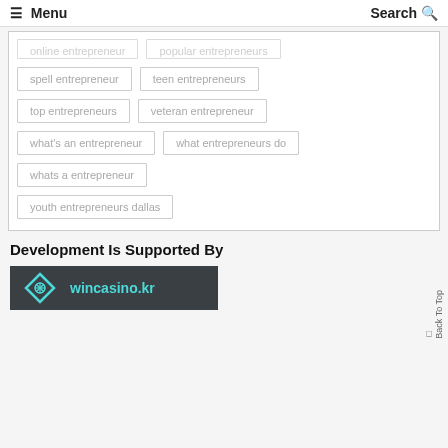☰ Menu    Search 🔍
online entrepreneur
popular entrepreneurs
spell entrepreneur
teen entrepreneurs
top entrepreneurs
veteran entrepreneur
what's an entrepreneur
what entrepreneurs do
whats a entrepreneur
youth entrepreneurs dallas
Development Is Supported By
[Figure (logo): wincasino.kr logo with diamond icon on dark background]